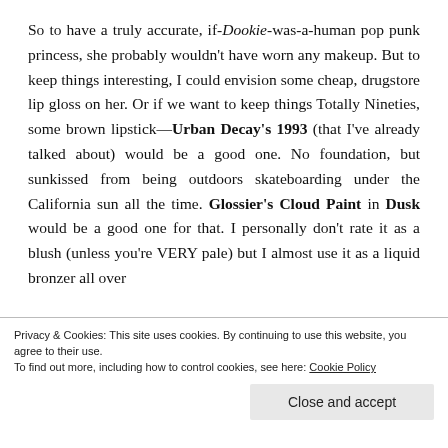So to have a truly accurate, if-Dookie-was-a-human pop punk princess, she probably wouldn't have worn any makeup. But to keep things interesting, I could envision some cheap, drugstore lip gloss on her. Or if we want to keep things Totally Nineties, some brown lipstick—Urban Decay's 1993 (that I've already talked about) would be a good one. No foundation, but sunkissed from being outdoors skateboarding under the California sun all the time. Glossier's Cloud Paint in Dusk would be a good one for that. I personally don't rate it as a blush (unless you're VERY pale) but I almost use it as a liquid bronzer all over
Privacy & Cookies: This site uses cookies. By continuing to use this website, you agree to their use.
To find out more, including how to control cookies, see here: Cookie Policy